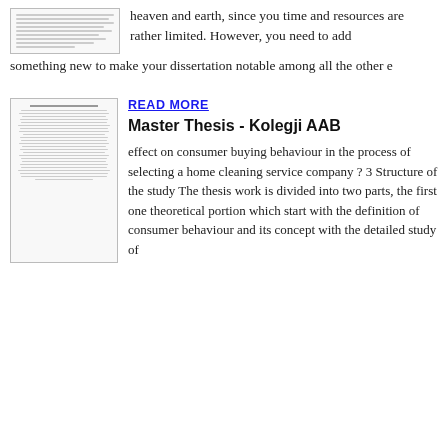[Figure (illustration): Thumbnail image of a document page showing text content]
heaven and earth, since you time and resources are rather limited. However, you need to add something new to make your dissertation notable among all the other e
[Figure (illustration): Thumbnail image of a document page with heading EXECUTIVE SUMMARY and body text]
READ MORE
Master Thesis - Kolegji AAB
effect on consumer buying behaviour in the process of selecting a home cleaning service company ? 3 Structure of the study The thesis work is divided into two parts, the first one theoretical portion which start with the definition of consumer behaviour and its concept with the detailed study of